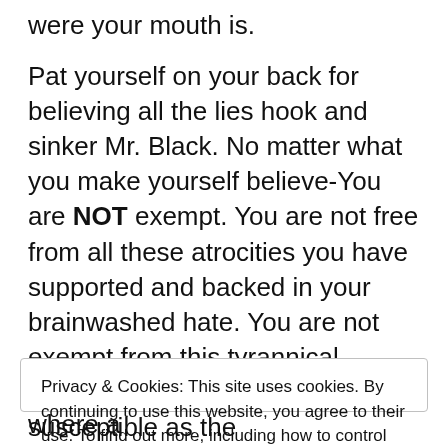were your mouth is.
Pat yourself on your back for believing all the lies hook and sinker Mr. Black. No matter what you make yourself believe-You are NOT exempt. You are not free from all these atrocities you have supported and backed in your brainwashed hate. You are not exempt from this tyrannical government. You are just as susceptible as the
Privacy & Cookies: This site uses cookies. By continuing to use this website, you agree to their use. To find out more, including how to control cookies, see here: Cookie Policy
Close and accept
have went right after Saudi Arabia where a